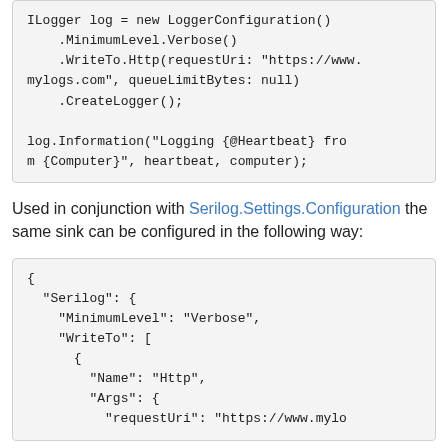ILogger log = new LoggerConfiguration()
    .MinimumLevel.Verbose()
    .WriteTo.Http(requestUri: "https://www.mylogs.com", queueLimitBytes: null)
    .CreateLogger();

log.Information("Logging {@Heartbeat} from {Computer}", heartbeat, computer);
Used in conjunction with Serilog.Settings.Configuration the same sink can be configured in the following way:
{
  "Serilog": {
    "MinimumLevel": "Verbose",
    "WriteTo": [
      {
        "Name": "Http",
        "Args": {
          "requestUri": "https://www.mylo